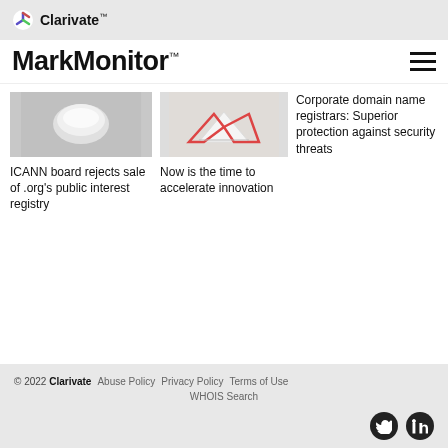Clarivate™
MarkMonitor™
[Figure (photo): Photo of white cosmetic jar/product on light background]
ICANN board rejects sale of .org's public interest registry
[Figure (photo): Photo of geometric red and white arrows or architectural pattern]
Now is the time to accelerate innovation
Corporate domain name registrars: Superior protection against security threats
© 2022 Clarivate  Abuse Policy  Privacy Policy  Terms of Use  WHOIS Search